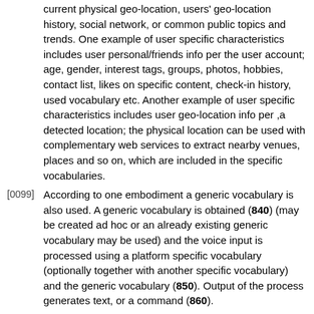current physical geo-location, users' geo-location history, social network, or common public topics and trends. One example of user specific characteristics includes user personal/friends info per the user account; age, gender, interest tags, groups, photos, hobbies, contact list, likes on specific content, check-in history, used vocabulary etc. Another example of user specific characteristics includes user geo-location info per ,a detected location; the physical location can be used with complementary web services to extract nearby venues, places and so on, which are included in the specific vocabularies.
[0099] According to one embodiment a generic vocabulary is also used. A generic vocabulary is obtained (840) (may be created ad hoc or an already existing generic vocabulary may be used) and the voice input is processed using a platform specific vocabulary (optionally together with another specific vocabulary) and the generic vocabulary (850). Output of the process generates text, or a command (860).
[0100] Vocabularies may be created off-line or on the fly.